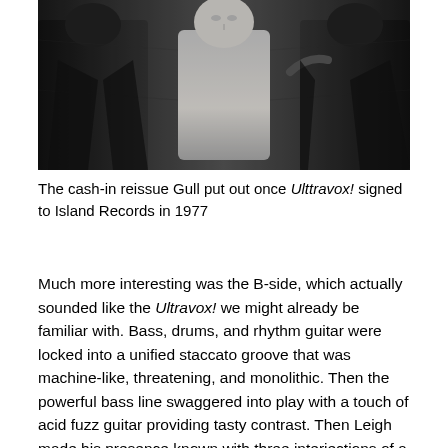[Figure (photo): Black and white photograph of a group of people, with a pale mannequin-like figure in the center, dark coats on surrounding figures.]
The cash-in reissue Gull put out once Ulttravox! signed to Island Records in 1977
Much more interesting was the B-side, which actually sounded like the Ultravox! we might already be familiar with. Bass, drums, and rhythm guitar were locked into a unified staccato groove that was machine-like, threatening, and monolithic. Then the powerful bass line swaggered into play with a touch of acid fuzz guitar providing tasty contrast. Then Leigh made his presence known with three interjections of a simian “ooh, ooh, ooh” grunt before biting into the first verses with all of the spiteful venom that he would bring to some of the more